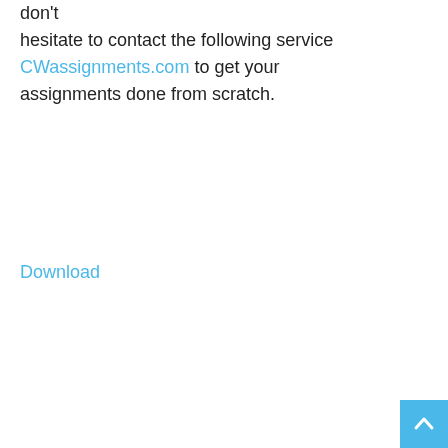don't hesitate to contact the following service CWassignments.com to get your assignments done from scratch.
Download